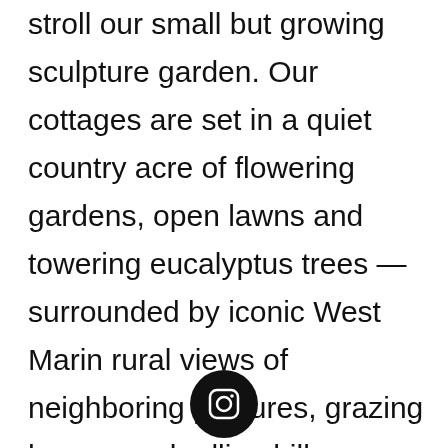stroll our small but growing sculpture garden. Our cottages are set in a quiet country acre of flowering gardens, open lawns and towering eucalyptus trees — surrounded by iconic West Marin rural views of neighboring pastures, grazing horses and rolling hills. more...
[Figure (logo): Instagram logo icon — white camera outline on black circular background]